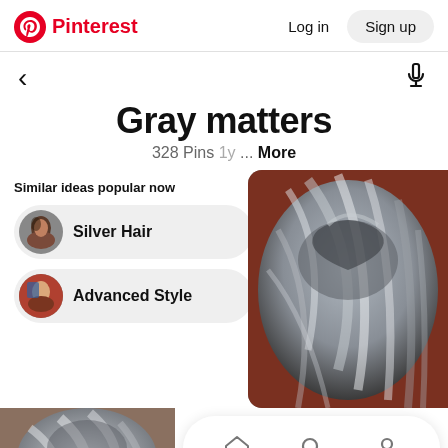Pinterest  Log in  Sign up
Gray matters
328 Pins 1y ... More
Similar ideas popular now
Silver Hair
Advanced Style
[Figure (photo): Close-up of gray and silver highlighted hair, styled in an updo]
[Figure (photo): Gray highlighted hair, shorter style]
Home  Search  Profile navigation icons